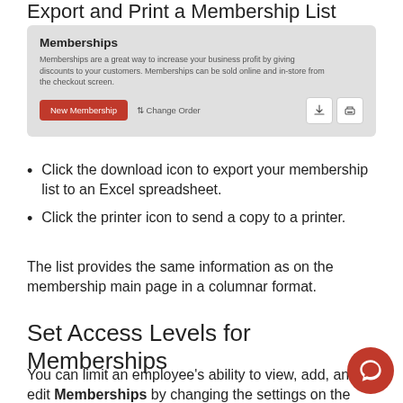Export and Print a Membership List
[Figure (screenshot): Screenshot of the Memberships page in a POS system showing a 'New Membership' red button, a 'Change Order' button, and two icon buttons (download and print) on the right. The Memberships header is shown with a description about memberships.]
Click the download icon to export your membership list to an Excel spreadsheet.
Click the printer icon to send a copy to a printer.
The list provides the same information as on the membership main page in a columnar format.
Set Access Levels for Memberships
You can limit an employee's ability to view, add, and edit Memberships by changing the settings on the Access